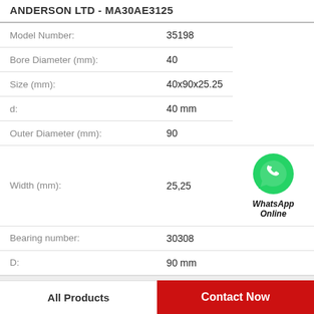ANDERSON LTD - MA30AE3125
| Property | Value |
| --- | --- |
| Model Number: | 35198 |
| Bore Diameter (mm): | 40 |
| Size (mm): | 40x90x25.25 |
| d: | 40 mm |
| Outer Diameter (mm): | 90 |
| Width (mm): | 25,25 |
| Bearing number: | 30308 |
| D: | 90 mm |
Product Details
All Products
Contact Now